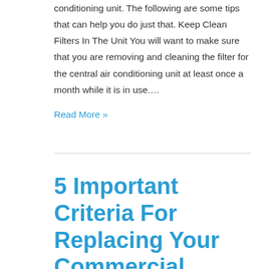conditioning unit. The following are some tips that can help you do just that. Keep Clean Filters In The Unit You will want to make sure that you are removing and cleaning the filter for the central air conditioning unit at least once a month while it is in use.…
Read More »
5 Important Criteria For Replacing Your Commercial HVAC